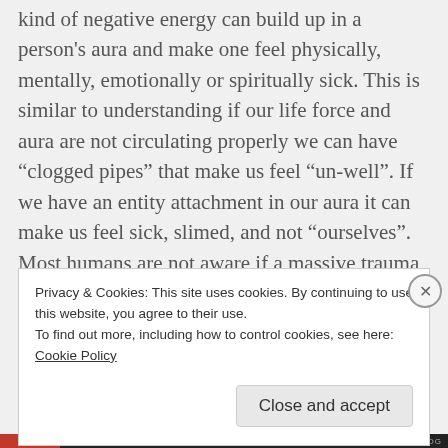kind of negative energy can build up in a person's aura and make one feel physically, mentally, emotionally or spiritually sick. This is similar to understanding if our life force and aura are not circulating properly we can have “clogged pipes” that make us feel “un-well”. If we have an entity attachment in our aura it can make us feel sick, slimed, and not “ourselves”. Most humans are not aware if a massive trauma happens on a land mass at any point in time, that energy is stuck there until
Privacy & Cookies: This site uses cookies. By continuing to use this website, you agree to their use.
To find out more, including how to control cookies, see here: Cookie Policy